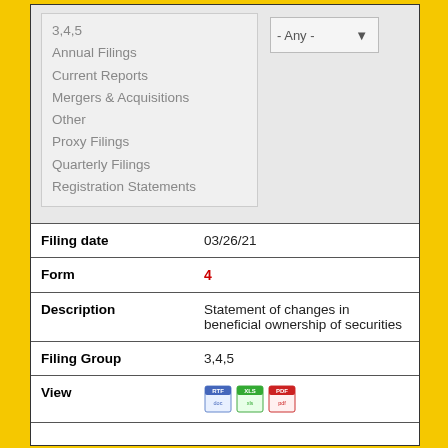3,4,5
Annual Filings
Current Reports
Mergers & Acquisitions
Other
Proxy Filings
Quarterly Filings
Registration Statements
|  |  |
| --- | --- |
| Filing date | 03/26/21 |
| Form | 4 |
| Description | Statement of changes in beneficial ownership of securities |
| Filing Group | 3,4,5 |
| View | [RTF] [XLS] [PDF] |